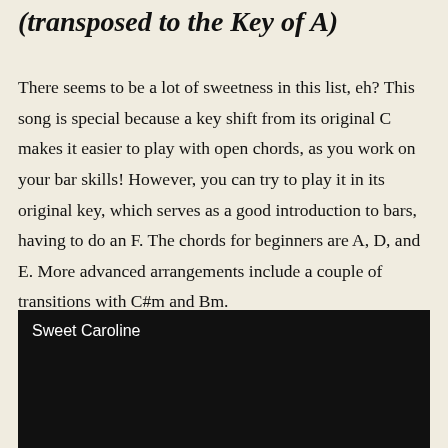(transposed to the Key of A)
There seems to be a lot of sweetness in this list, eh? This song is special because a key shift from its original C makes it easier to play with open chords, as you work on your bar skills! However, you can try to play it in its original key, which serves as a good introduction to bars, having to do an F. The chords for beginners are A, D, and E. More advanced arrangements include a couple of transitions with C#m and Bm.
[Figure (screenshot): Black video player thumbnail with white text label 'Sweet Caroline' in the upper left corner]